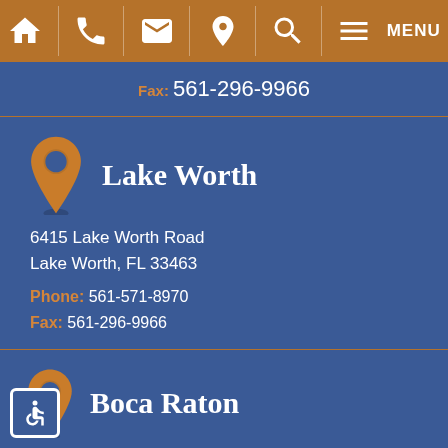Navigation bar with home, phone, email, location, search, and menu icons
Fax: 561-296-9966
Lake Worth
6415 Lake Worth Road
Lake Worth, FL 33463
Phone: 561-571-8970
Fax: 561-296-9966
Boca Raton
1515 N. Federal highway #300
Boca Raton, FL 33432
Phone: 561-571-8970
Fax: 561-296-9966